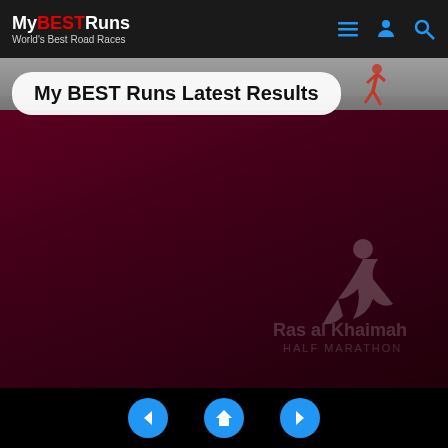MyBESTRuns — World's Best Road Races
My BEST Runs Latest Results
[Figure (photo): Dark maroon background with faint Ras al Khaimah Half Marathon logo watermark and photo strip at top showing road/runners]
Navigation: previous, home, next